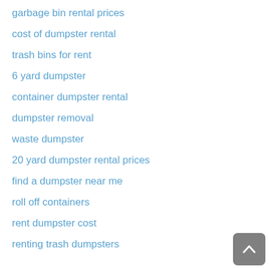garbage bin rental prices
cost of dumpster rental
trash bins for rent
6 yard dumpster
container dumpster rental
dumpster removal
waste dumpster
20 yard dumpster rental prices
find a dumpster near me
roll off containers
rent dumpster cost
renting trash dumpsters
dumping stations near me
rent a dumpster for a day
roll off trash dumpsters
rolloff dumpster rental
30 yd dumpster
rent a roll off dumpster
roll off dumpster service